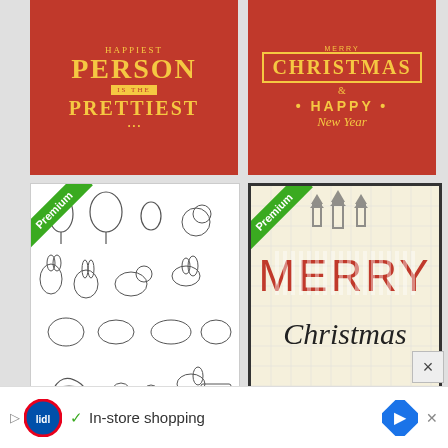[Figure (illustration): Red greeting card with gold text: 'Happiest PERSON IS THE PRETTIEST']
[Figure (illustration): Red greeting card with gold text: 'Merry CHRISTMAS & HAPPY New Year' in bordered box]
[Figure (illustration): White card with black-and-white sketch illustrations of Easter animals and items (rabbits, chicks, eggs, baskets). Premium badge.]
[Figure (illustration): Vintage cream card with pine tree icons and striped MERRY Christmas text. Premium badge.]
[Figure (illustration): Teal birthday card with red text 'Happy BIRTH DAY'. Premium badge.]
[Figure (illustration): Grid of 9 colored tiles (yellow, blue, pink) with white flower silhouettes. Premium badge.]
In-store shopping
×